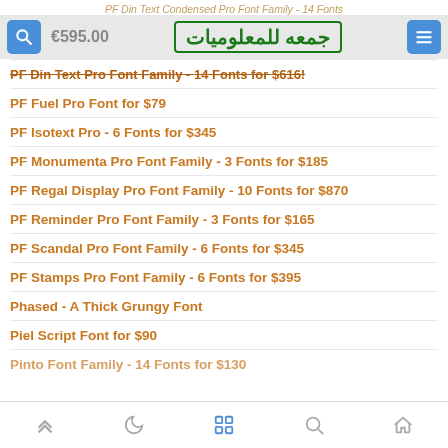PF Din Text Condensed Pro Font Family - 14 Fonts
[Figure (screenshot): Mobile browser header bar with search icon, price €595.00, Arabic logo جمعه للمعلوميات, and menu icon]
PF Din Text Pro Font Family - 14 Fonts for $616!
PF Fuel Pro Font for $79
PF Isotext Pro - 6 Fonts for $345
PF Monumenta Pro Font Family - 3 Fonts for $185
PF Regal Display Pro Font Family - 10 Fonts for $870
PF Reminder Pro Font Family - 3 Fonts for $165
PF Scandal Pro Font Family - 6 Fonts for $345
PF Stamps Pro Font Family - 6 Fonts for $395
Phased - A Thick Grungy Font
Piel Script Font for $90
Navigation bar with up, moon, grid, search, and home icons